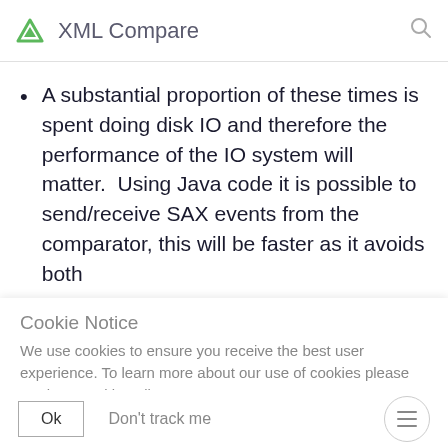XML Compare
A substantial proportion of these times is spent doing disk IO and therefore the performance of the IO system will matter.  Using Java code it is possible to send/receive SAX events from the comparator, this will be faster as it avoids both
Cookie Notice
We use cookies to ensure you receive the best user experience. To learn more about our use of cookies please read our cookie policy.
Cookie Policy
Ok   Don't track me